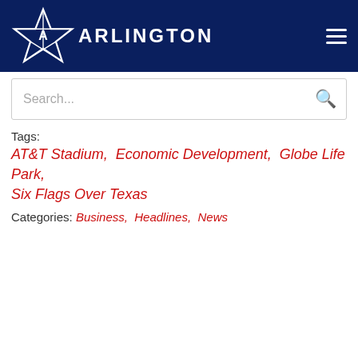[Figure (logo): City of Arlington star logo with 'ARLINGTON' text in white on dark navy header, with hamburger menu icon on the right]
Search...
Tags:
AT&T Stadium,  Economic Development,  Globe Life Park,  Six Flags Over Texas
Categories:  Business,  Headlines,  News